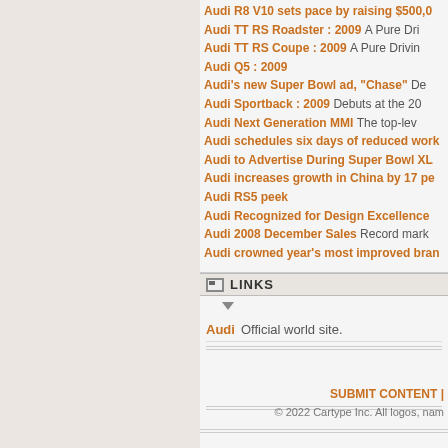Audi R8 V10 sets pace by raising $500,00
Audi TT RS Roadster : 2009   A Pure Dri
Audi TT RS Coupe : 2009   A Pure Drivin
Audi Q5 : 2009
Audi's new Super Bowl ad, "Chase"   De
Audi Sportback : 2009   Debuts at the 20
Audi Next Generation MMI   The top-lev
Audi schedules six days of reduced work
Audi to Advertise During Super Bowl XL
Audi increases growth in China by 17 pe
Audi RS5 peek
Audi Recognized for Design Excellence
Audi 2008 December Sales   Record mark
Audi crowned year's most improved bran
LINKS
Audi   Official world site.
SUBMIT CONTENT
© 2022 Cartype Inc. All logos, nam